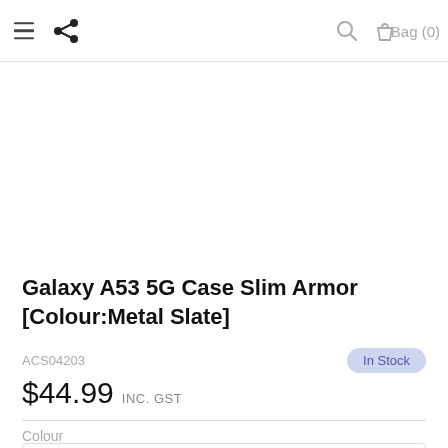≡ [share icon] [search icon] Bag (0)
Galaxy A53 5G Case Slim Armor [Colour:Metal Slate]
ACS04203   In Stock
$44.99 INC. GST
Colour